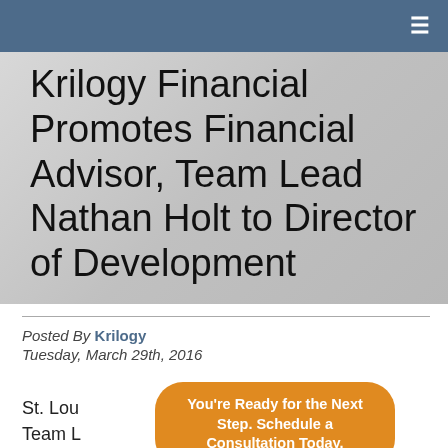≡
Krilogy Financial Promotes Financial Advisor, Team Lead Nathan Holt to Director of Development
Posted By Krilogy
Tuesday, March 29th, 2016
St. Louis Financial Advisor Team Lead Nathan Holt, of St. Louis, has been named the firm's new Director of Development. In this role, he will expand his
[Figure (other): Orange rounded rectangle call-to-action banner reading: You're Ready for the Next Step. Schedule a Consultation Today.]